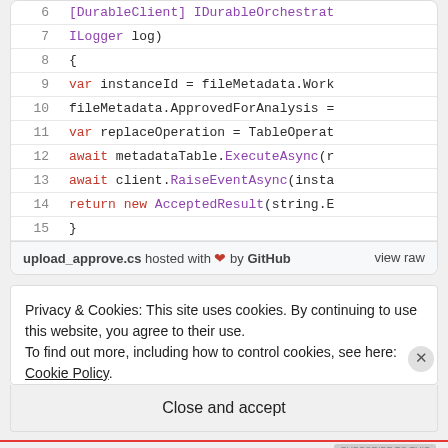[Figure (screenshot): Code snippet showing C# code lines 6-15 with syntax highlighting. Line 6: [DurableClient] IDurableOrchestrat, Line 7: ILogger log), Line 8: {, Line 9: var instanceId = fileMetadata.Work, Line 10: fileMetadata.ApprovedForAnalysis =, Line 11: var replaceOperation = TableOperat, Line 12: await metadataTable.ExecuteAsync(r, Line 13: await client.RaiseEventAsync(insta, Line 14: return new AcceptedResult(string.E, Line 15: }]
upload_approve.cs hosted with ❤ by GitHub   view raw
Privacy & Cookies: This site uses cookies. By continuing to use this website, you agree to their use.
To find out more, including how to control cookies, see here: Cookie Policy
Close and accept